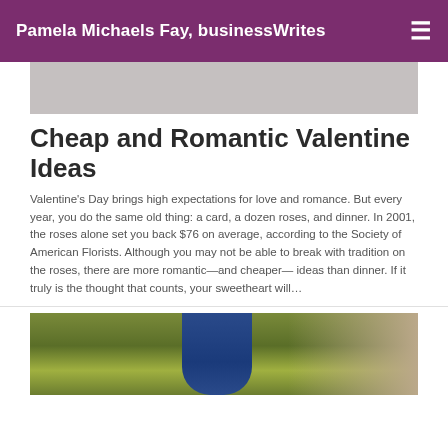Pamela Michaels Fay, businessWrites
[Figure (photo): Gray/light image at top of page, partial view]
Cheap and Romantic Valentine Ideas
Valentine’s Day brings high expectations for love and romance. But every year, you do the same old thing: a card, a dozen roses, and dinner. In 2001, the roses alone set you back $76 on average, according to the Society of American Florists. Although you may not be able to break with tradition on the roses, there are more romantic—and cheaper— ideas than dinner. If it truly is the thought that counts, your sweetheart will…
[Figure (photo): Outdoor photo of couple against green foliage background, partial view at bottom of page]